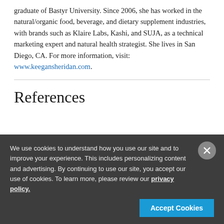graduate of Bastyr University. Since 2006, she has worked in the natural/organic food, beverage, and dietary supplement industries, with brands such as Klaire Labs, Kashi, and SUJA, as a technical marketing expert and natural health strategist. She lives in San Diego, CA. For more information, visit: www.keegansheridan.com.
References
We use cookies to understand how you use our site and to improve your experience. This includes personalizing content and advertising. By continuing to use our site, you accept our use of cookies. To learn more, please review our privacy policy.